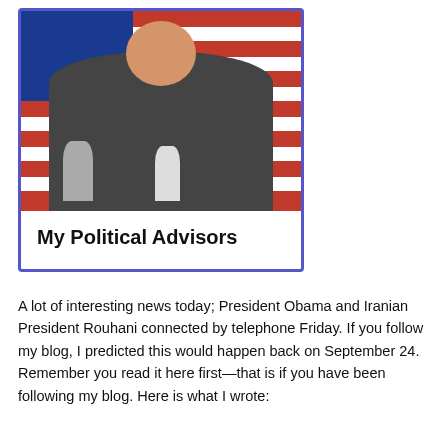[Figure (photo): A smiling man holding two figurines/statuettes — one animal-like and one white figurine resembling a cow or bull — with an American flag in the background. The photo is inside a blue-bordered card.]
My Political Advisors
A lot of interesting news today; President Obama and Iranian President Rouhani connected by telephone Friday. If you follow my blog, I predicted this would happen back on September 24. Remember you read it here first—that is if you have been following my blog. Here is what I wrote: